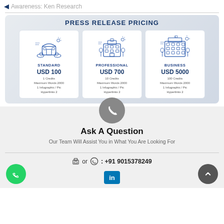Awareness: Ken Research
[Figure (infographic): Press Release Pricing banner with three pricing tiers: STANDARD USD 100 (1 Credits, Maximum Words 2000, 1 Infographic / Pic, Hyperlinks 2), PROFESSIONAL USD 700 (10 Credits, Maximum Words 2000, 1 Infographic / Pic, Hyperlinks 2), BUSINESS USD 5000 (100 Credits, Maximum Words 2000, 1 Infographic / Pic, Hyperlinks 2). Each tier shows a building illustration.]
Ask A Question
Our Team Will Assist You in What You Are Looking For
or : +91 9015378249